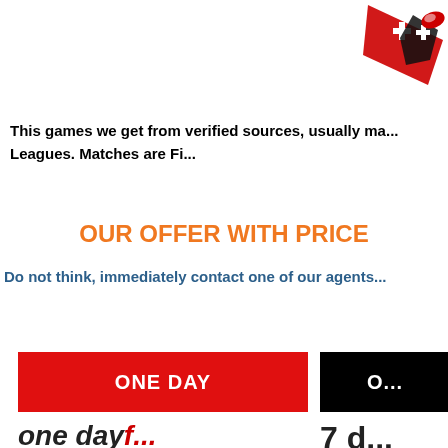[Figure (logo): Red and black logo with cross/plus symbols and flag elements in top right corner]
This games we get from verified sources, usually ma... Leagues. Matches are Fi...
OUR OFFER WITH PRICE
Do not think, immediately contact one of our agents
ONE DAY
O...
one day...
7 d...